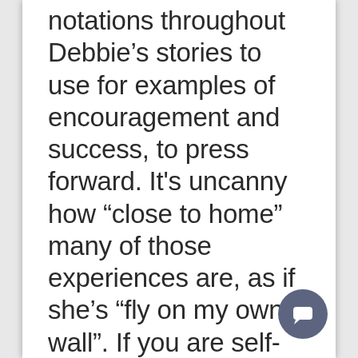notations throughout Debbie’s stories to use for examples of encouragement and success, to press forward. It's uncanny how “close to home” many of those experiences are, as if she’s “fly on my own wall”. If you are self-motivated, this book is like having a business coach in your pocket.
[Figure (illustration): Round dark blue-grey chat button icon in the bottom-right corner]